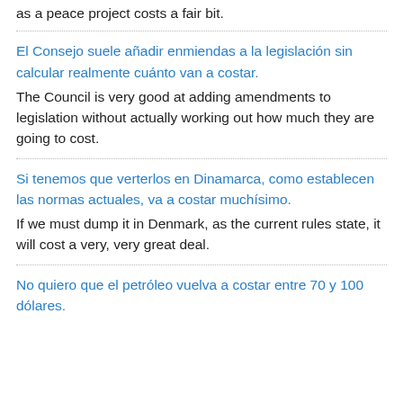as a peace project costs a fair bit.
El Consejo suele añadir enmiendas a la legislación sin calcular realmente cuánto van a costar.
The Council is very good at adding amendments to legislation without actually working out how much they are going to cost.
Si tenemos que verterlos en Dinamarca, como establecen las normas actuales, va a costar muchísimo.
If we must dump it in Denmark, as the current rules state, it will cost a very, very great deal.
No quiero que el petróleo vuelva a costar entre 70 y 100 dólares.